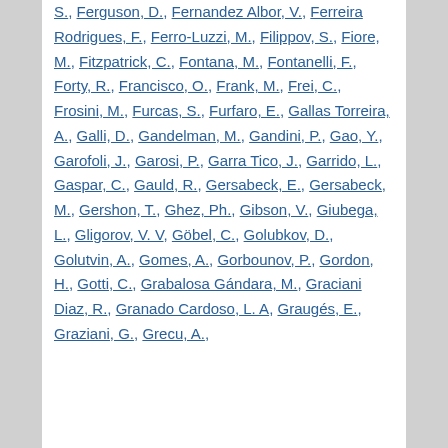S., Ferguson, D., Fernandez Albor, V., Ferreira Rodrigues, F., Ferro-Luzzi, M., Filippov, S., Fiore, M., Fitzpatrick, C., Fontana, M., Fontanelli, F., Forty, R., Francisco, O., Frank, M., Frei, C., Frosini, M., Furcas, S., Furfaro, E., Gallas Torreira, A., Galli, D., Gandelman, M., Gandini, P., Gao, Y., Garofoli, J., Garosi, P., Garra Tico, J., Garrido, L., Gaspar, C., Gauld, R., Gersabeck, E., Gersabeck, M., Gershon, T., Ghez, Ph., Gibson, V., Giubega, L., Gligorov, V. V, Göbel, C., Golubkov, D., Golutvin, A., Gomes, A., Gorbounov, P., Gordon, H., Gotti, C., Grabalosa Gándara, M., Graciani Diaz, R., Granado Cardoso, L. A, Graugés, E., Graziani, G., Grecu, A.